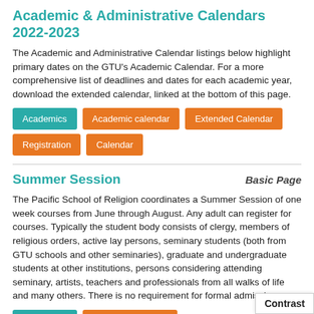Academic & Administrative Calendars 2022-2023
The Academic and Administrative Calendar listings below highlight primary dates on the GTU's Academic Calendar. For a more comprehensive list of deadlines and dates for each academic year, download the extended calendar, linked at the bottom of this page.
Academics
Academic calendar
Extended Calendar
Registration
Calendar
Summer Session
Basic Page
The Pacific School of Religion coordinates a Summer Session of one week courses from June through August. Any adult can register for courses. Typically the student body consists of clergy, members of religious orders, active lay persons, seminary students (both from GTU schools and other seminaries), graduate and undergraduate students at other institutions, persons considering attending seminary, artists, teachers and professionals from all walks of life and many others. There is no requirement for formal admission.
Academics
certificate program
Contrast